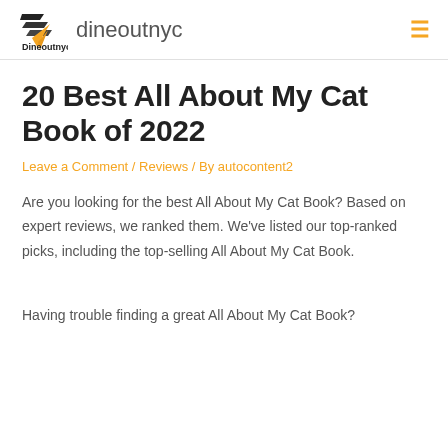Dineoutnyc dineoutnyc
20 Best All About My Cat Book of 2022
Leave a Comment / Reviews / By autocontent2
Are you looking for the best All About My Cat Book? Based on expert reviews, we ranked them. We've listed our top-ranked picks, including the top-selling All About My Cat Book.
Having trouble finding a great All About My Cat Book?